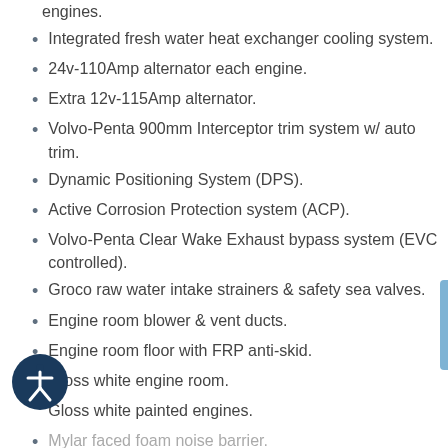engines.
Integrated fresh water heat exchanger cooling system.
24v-110Amp alternator each engine.
Extra 12v-115Amp alternator.
Volvo-Penta 900mm Interceptor trim system w/ auto trim.
Dynamic Positioning System (DPS).
Active Corrosion Protection system (ACP).
Volvo-Penta Clear Wake Exhaust bypass system (EVC controlled).
Groco raw water intake strainers & safety sea valves.
Engine room blower & vent ducts.
Engine room floor with FRP anti-skid.
Gloss white engine room.
Gloss white painted engines.
Mylar faced foam noise barrier.